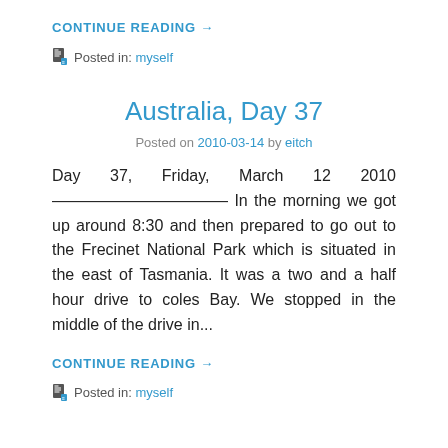CONTINUE READING →
Posted in: myself
Australia, Day 37
Posted on 2010-03-14 by eitch
Day 37, Friday, March 12 2010 ——————————— In the morning we got up around 8:30 and then prepared to go out to the Frecinet National Park which is situated in the east of Tasmania. It was a two and a half hour drive to coles Bay. We stopped in the middle of the drive in...
CONTINUE READING →
Posted in: myself